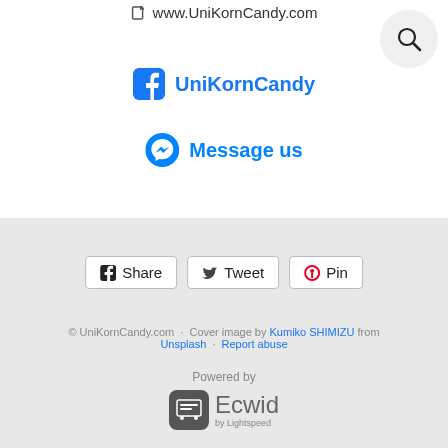www.UniKornCandy.com
UniKornCandy
Message us
Share  Tweet  Pin
© UniKornCandy.com · Cover image by Kumiko SHIMIZU from Unsplash · Report abuse
Powered by
[Figure (logo): Ecwid by Lightspeed logo]